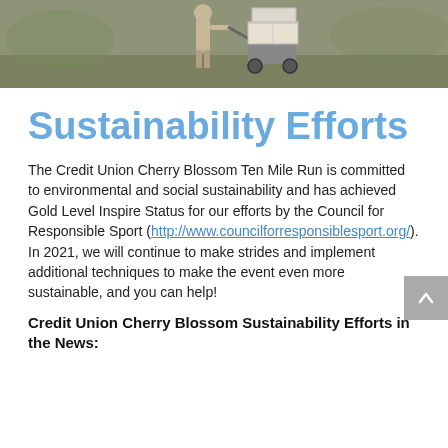[Figure (photo): A person outdoors pulling a cart loaded with white cardboard boxes, on grass/field background.]
Sustainability Efforts
The Credit Union Cherry Blossom Ten Mile Run is committed to environmental and social sustainability and has achieved Gold Level Inspire Status for our efforts by the Council for Responsible Sport (http://www.councilforresponsiblesport.org/). In 2021, we will continue to make strides and implement additional techniques to make the event even more sustainable, and you can help!
Credit Union Cherry Blossom Sustainability Efforts in the News: